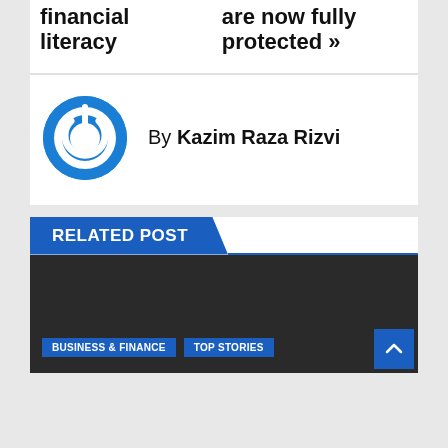financial literacy
are now fully protected »
[Figure (logo): Blue circular power button logo icon]
By Kazim Raza Rizvi
RELATED POST
[Figure (photo): Dark background image with category tags BUSINESS & FINANCE and TOP STORIES, and a scroll-to-top button]
BUSINESS & FINANCE
TOP STORIES